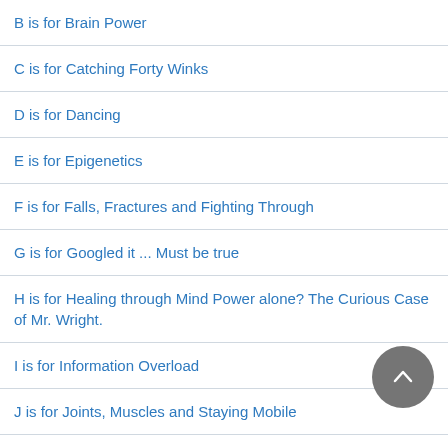B is for Brain Power
C is for Catching Forty Winks
D is for Dancing
E is for Epigenetics
F is for Falls, Fractures and Fighting Through
G is for Googled it ... Must be true
H is for Healing through Mind Power alone? The Curious Case of Mr. Wright.
I is for Information Overload
J is for Joints, Muscles and Staying Mobile
K is for Keeping Consistent
L is for Love is All You Need